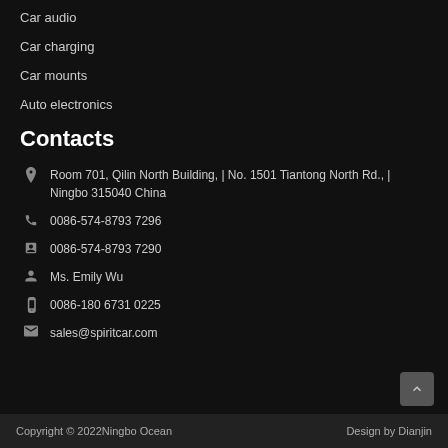Car audio
Car charging
Car mounts
Auto electronics
Contacts
Room 701, Qilin North Building, | No. 1501 Tiantong North Rd., | Ningbo 315040 China
0086-574-8793 7296
0086-574-8793 7290
Ms. Emily Wu
0086-180 6731 0225
sales@spiritcar.com
Copyright © 2022Ningbo Ocean   Design by Dianjin